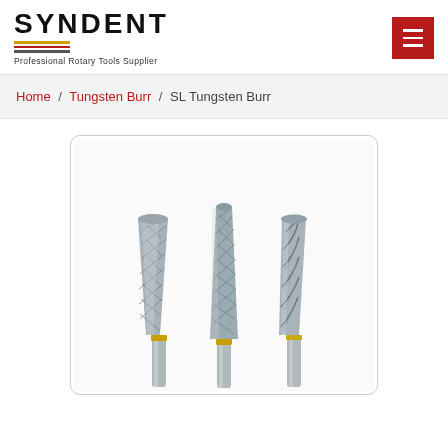SYNDENT — Professional Rotary Tools Supplier
Home / Tungsten Burr / SL Tungsten Burr
[Figure (photo): Three SL Tungsten Burr rotary tool bits with tapered cylindrical heads showing different cut patterns (single cut, double cross cut, and coarse single spiral cut), each with a cylindrical shank]